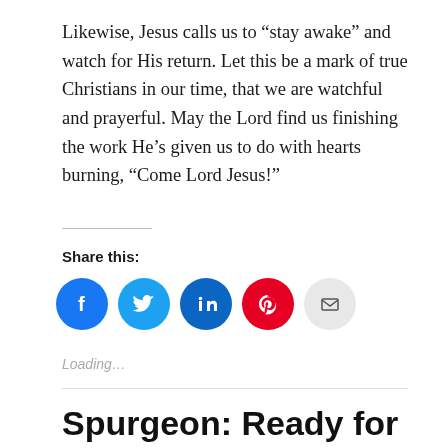Likewise, Jesus calls us to “stay awake” and watch for His return. Let this be a mark of true Christians in our time, that we are watchful and prayerful. May the Lord find us finishing the work He’s given us to do with hearts burning, “Come Lord Jesus!”
Share this:
[Figure (other): Social sharing icons: Facebook (blue circle), Twitter (light blue circle), LinkedIn (dark blue circle), Pinterest (red circle), Email (light gray circle)]
Loading...
Spurgeon: Ready for the